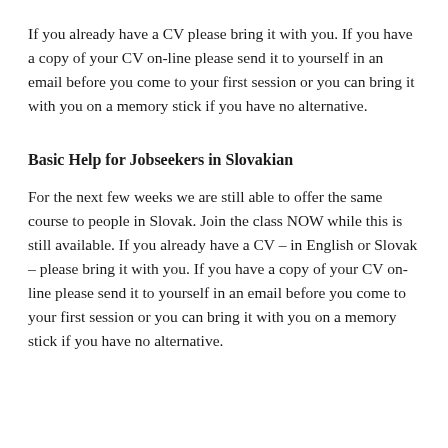If you already have a CV please bring it with you. If you have a copy of your CV on-line please send it to yourself in an email before you come to your first session or you can bring it with you on a memory stick if you have no alternative.
Basic Help for Jobseekers in Slovakian
For the next few weeks we are still able to offer the same course to people in Slovak. Join the class NOW while this is still available. If you already have a CV – in English or Slovak – please bring it with you. If you have a copy of your CV on-line please send it to yourself in an email before you come to your first session or you can bring it with you on a memory stick if you have no alternative.